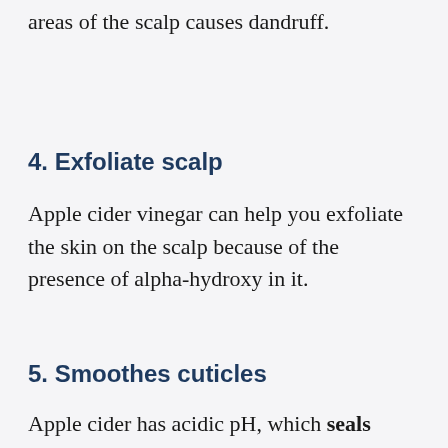areas of the scalp causes dandruff.
4. Exfoliate scalp
Apple cider vinegar can help you exfoliate the skin on the scalp because of the presence of alpha-hydroxy in it.
5. Smoothes cuticles
Apple cider has acidic pH, which seals